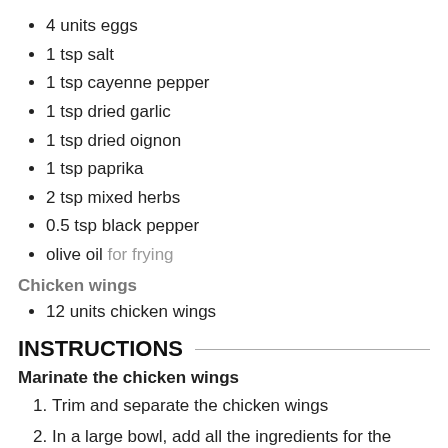4 units eggs
1 tsp salt
1 tsp cayenne pepper
1 tsp dried garlic
1 tsp dried oignon
1 tsp paprika
2 tsp mixed herbs
0.5 tsp black pepper
olive oil for frying
Chicken wings
12 units chicken wings
INSTRUCTIONS
Marinate the chicken wings
Trim and separate the chicken wings
In a large bowl, add all the ingredients for the marinade: mustard, spices, olive oil and mix well.
Add the chicken wings in the bowl and mix well so that